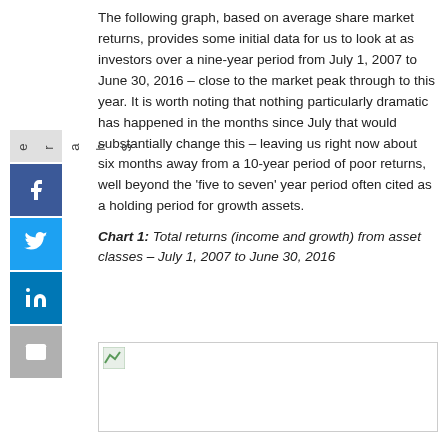The following graph, based on average share market returns, provides some initial data for us to look at as investors over a nine-year period from July 1, 2007 to June 30, 2016 – close to the market peak through to this year. It is worth noting that nothing particularly dramatic has happened in the months since July that would substantially change this – leaving us right now about six months away from a 10-year period of poor returns, well beyond the 'five to seven' year period often cited as a holding period for growth assets.
Chart 1: Total returns (income and growth) from asset classes – July 1, 2007 to June 30, 2016
[Figure (other): Placeholder image area for Chart 1 showing total returns from asset classes July 1, 2007 to June 30, 2016]